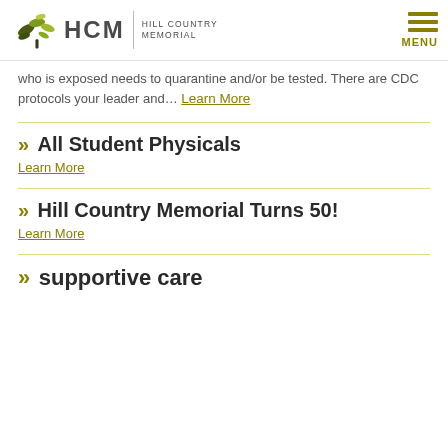HCM Hill Country Memorial — MENU
who is exposed needs to quarantine and/or be tested. There are CDC protocols your leader and... Learn More
» All Student Physicals
Learn More
» Hill Country Memorial Turns 50!
Learn More
» supportive care